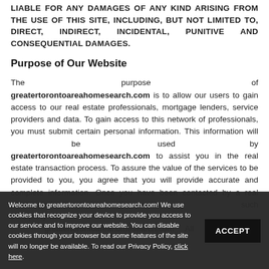LIABLE FOR ANY DAMAGES OF ANY KIND ARISING FROM THE USE OF THIS SITE, INCLUDING, BUT NOT LIMITED TO, DIRECT, INDIRECT, INCIDENTAL, PUNITIVE AND CONSEQUENTIAL DAMAGES.
Purpose of Our Website
The purpose of greatertorontoareahomesearch.com is to allow our users to gain access to our real estate professionals, mortgage lenders, service providers and data. To gain access to this network of professionals, you must submit certain personal information. This information will be used by greatertorontoareahomesearch.com to assist you in the real estate transaction process. To assure the value of the services to be provided to you, you agree that you will provide accurate and complete information. Once you have been contacted by a real estate professionals or service provider, any such third party will greatertorontoareahomesearch.com All
Welcome to greatertorontoareahomesearch.com! We use cookies that recognize your device to provide you access to our service and to improve our website. You can disable cookies through your browser but some features of the site will no longer be available. To read our Privacy Policy, click here.